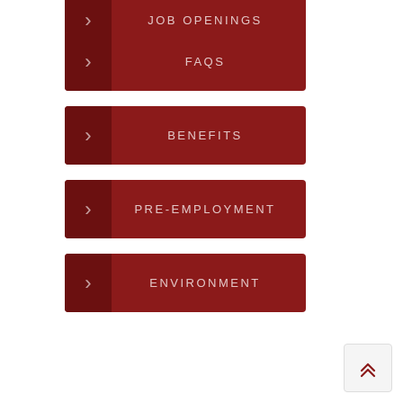JOB OPENINGS
FAQS
BENEFITS
PRE-EMPLOYMENT
ENVIRONMENT